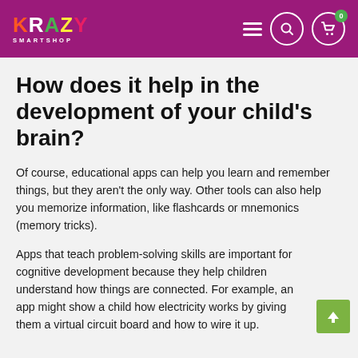Krazy Smartshop — navigation header with logo, menu, search, and cart icons
How does it help in the development of your child’s brain?
Of course, educational apps can help you learn and remember things, but they aren’t the only way. Other tools can also help you memorize information, like flashcards or mnemonics (memory tricks).
Apps that teach problem-solving skills are important for cognitive development because they help children understand how things are connected. For example, an app might show a child how electricity works by giving them a virtual circuit board and how to wire it up.